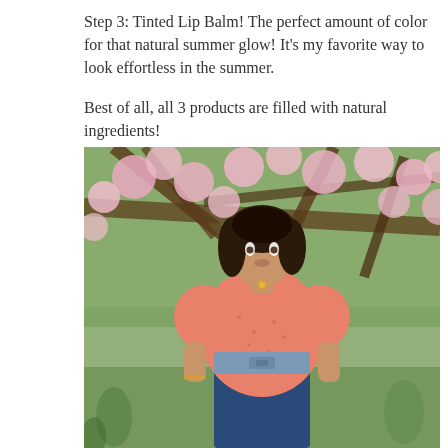Step 3: Tinted Lip Balm! The perfect amount of color for that natural summer glow! It's my favorite way to look effortless in the summer.

Best of all, all 3 products are filled with natural ingredients!
[Figure (photo): A young woman with dark hair wearing a pink floral wrap dress with puff sleeves and a light blue belt, standing in front of a cherry blossom tree in bloom. She is wearing jeans underneath and has a gold necklace. The background shows pink flowers and tree branches, with blurred crowd in the background.]